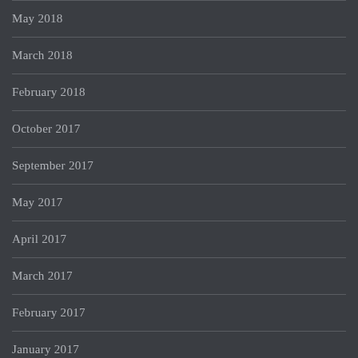May 2018
March 2018
February 2018
October 2017
September 2017
May 2017
April 2017
March 2017
February 2017
January 2017
December 2016